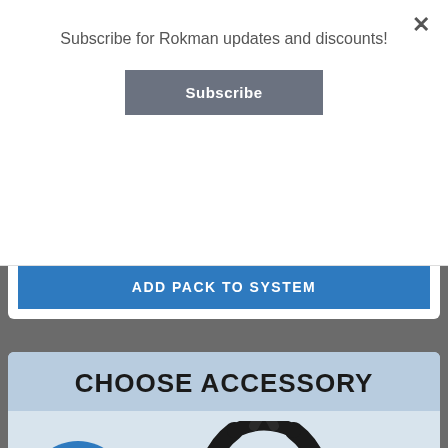Subscribe for Rokman updates and discounts!
Subscribe
ADD PACK TO SYSTEM
CHOOSE ACCESSORY
$149.00
[Figure (photo): Rokman backpack harness system with black straps and gray pack, Rokman logo visible on pack]